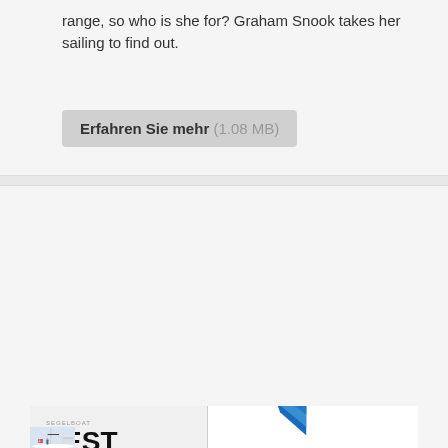range, so who is she for? Graham Snook takes her sailing to find out.
Erfahren Sie mehr (1.08 MB)
[Figure (photo): Magazine cover showing 'TEST 890 SEGELBOOTE' with an X4 sailboat sailing with blue spinnaker sail, crew member visible on deck, Danish flag visible]